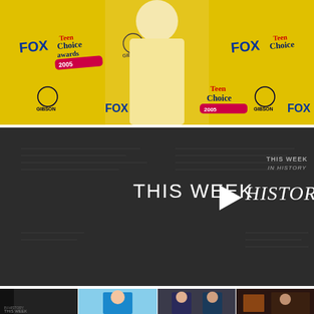[Figure (photo): A woman in a yellow dress posing at the Teen Choice Awards 2005 event, in front of a yellow step-and-repeat banner showing Teen Choice Awards logos, FOX logos, and Gibson Amphitheatre logos.]
[Figure (screenshot): A video thumbnail with dark background showing the text 'THIS WEEK IN HISTORY' with a white play button triangle in the center. The background has faint newspaper-like imagery.]
[Figure (photo): Thumbnail row at the bottom showing four small preview images including a dark video frame, a woman in a blue swimsuit, two men in suits, and another indoor scene.]